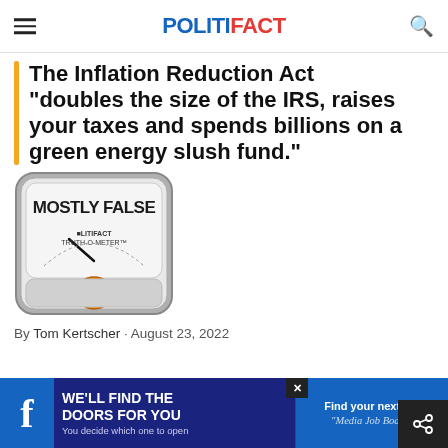POLITIFACT
The Inflation Reduction Act "doubles the size of the IRS, raises your taxes and spends billions on a green energy slush fund."
[Figure (illustration): PolitiFact Truth-O-Meter graphic showing 'MOSTLY FALSE' rating with an orange indicator light at the bottom.]
By Tom Kertscher · August 23, 2022
[Figure (infographic): Advertisement banner: 'WE'LL FIND THE DOORS FOR YOU – You decide which one to open' with a Media Job Board ad on the right side.]